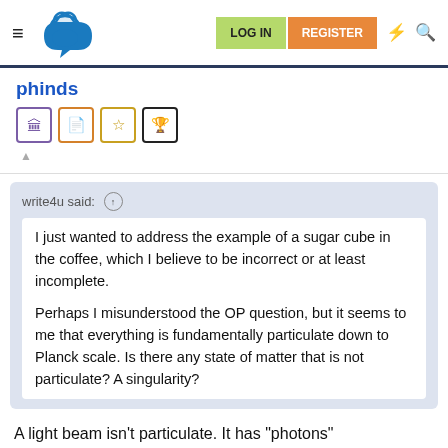LOG IN  REGISTER
phinds
write4u said: ↑

I just wanted to address the example of a sugar cube in the coffee, which I believe to be incorrect or at least incomplete.

Perhaps I misunderstood the OP question, but it seems to me that everything is fundamentally particulate down to Planck scale. Is there any state of matter that is not particulate? A singularity?
A light beam isn't particulate. It has "photons"